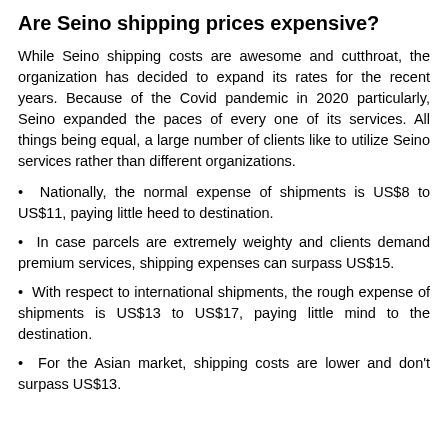Are Seino shipping prices expensive?
While Seino shipping costs are awesome and cutthroat, the organization has decided to expand its rates for the recent years. Because of the Covid pandemic in 2020 particularly, Seino expanded the paces of every one of its services. All things being equal, a large number of clients like to utilize Seino services rather than different organizations.
• Nationally, the normal expense of shipments is US$8 to US$11, paying little heed to destination.
• In case parcels are extremely weighty and clients demand premium services, shipping expenses can surpass US$15.
• With respect to international shipments, the rough expense of shipments is US$13 to US$17, paying little mind to the destination.
• For the Asian market, shipping costs are lower and don't surpass US$13.